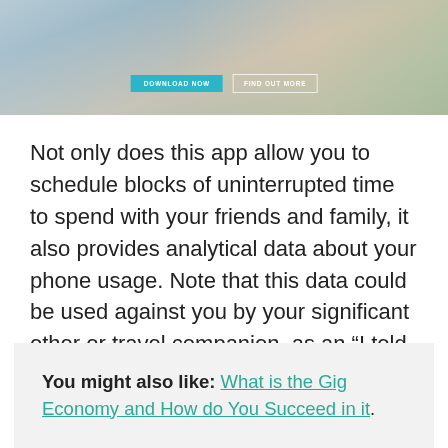[Figure (photo): Partial screenshot of a webpage showing a banner image with two buttons: 'DOWNLOAD NOW' (blue/teal filled) and 'FIND OUT MORE' (outlined). Background shows people in a home setting.]
Not only does this app allow you to schedule blocks of uninterrupted time to spend with your friends and family, it also provides analytical data about your phone usage. Note that this data could be used against you by your significant other or travel companion, as an “I told you that you work too much” moment.
You might also like: What is the Gig Economy and How do You Succeed in it.